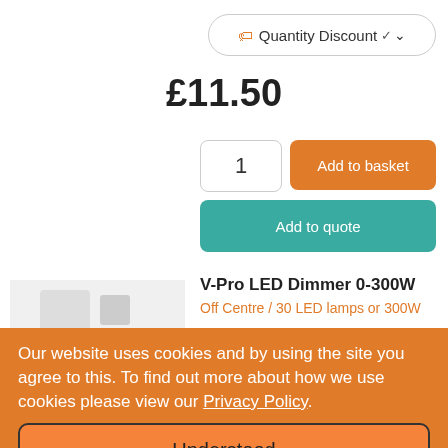Quantity Discount ▾
£11.50
1
Add to basket
Add to quote
V-Pro LED Dimmer 0-300W
Off Centre / 30 LED lamps or 300W
Our website uses cookies and by using the site you agree to this. To find out more about how we use cookies please view our Privacy Policy.
Understood